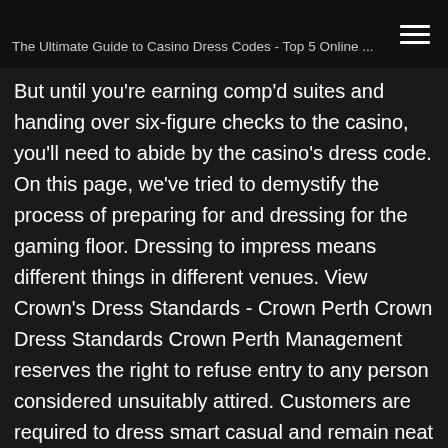The Ultimate Guide to Casino Dress Codes - Top 5 Online ...
But until you're earning comp'd suites and handing over six-figure checks to the casino, you'll need to abide by the casino's dress code. On this page, we've tried to demystify the process of preparing for and dressing for the gaming floor. Dressing to impress means different things in different venues. View Crown's Dress Standards - Crown Perth Crown Dress Standards Crown Perth Management reserves the right to refuse entry to any person considered unsuitably attired. Customers are required to dress smart casual and remain neat and tidy at all times while in the Casino. The following dress is considered unacceptable: Ripped, torn or soiled clothing; T-shirts with offensive design/words